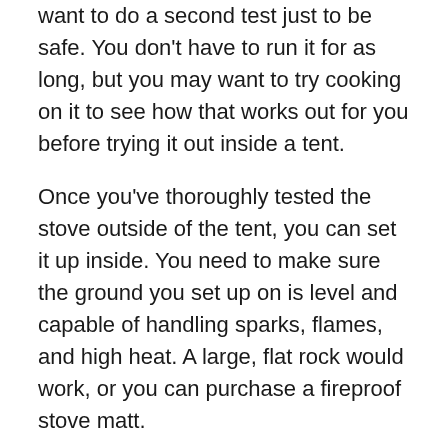want to do a second test just to be safe. You don't have to run it for as long, but you may want to try cooking on it to see how that works out for you before trying it out inside a tent.
Once you've thoroughly tested the stove outside of the tent, you can set it up inside. You need to make sure the ground you set up on is level and capable of handling sparks, flames, and high heat. A large, flat rock would work, or you can purchase a fireproof stove matt.
After setting up the stove foundation, you'll need to run the flue pipe through a stove jack (a heat-resistant hole in the roof of your tent. If your tent doesn't already come with one, you can purchase one